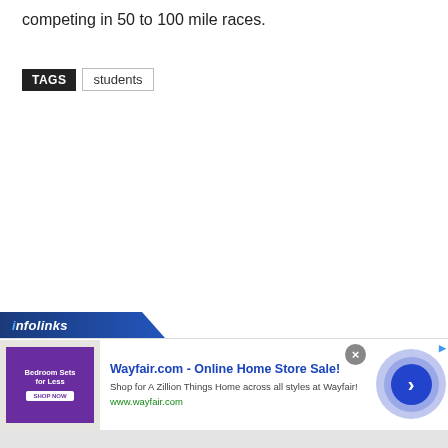competing in 50 to 100 mile races.
TAGS   students
[Figure (other): Infolinks advertisement banner for Wayfair.com - Online Home Store Sale! with bedroom furniture image, close button, and navigation arrow.]